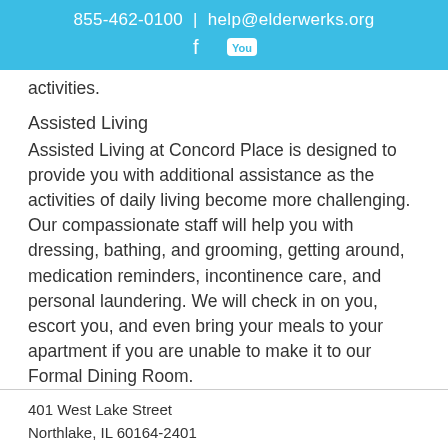855-462-0100 | help@elderwerks.org
activities.
Assisted Living
Assisted Living at Concord Place is designed to provide you with additional assistance as the activities of daily living become more challenging. Our compassionate staff will help you with dressing, bathing, and grooming, getting around, medication reminders, incontinence care, and personal laundering. We will check in on you, escort you, and even bring your meals to your apartment if you are unable to make it to our Formal Dining Room.
401 West Lake Street
Northlake, IL 60164-2401